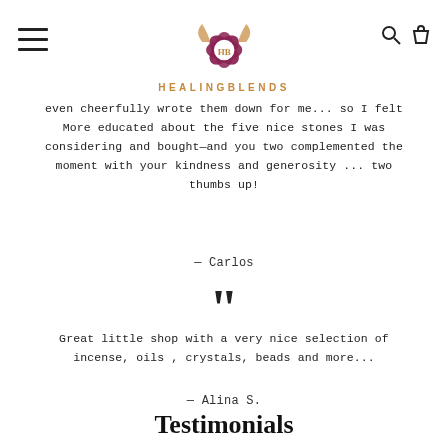HEALINGBLENDS
even cheerfully wrote them down for me... so I felt More educated about the five nice stones I was considering and bought—and you two complemented the moment with your kindness and generosity ... two thumbs up!
— Carlos
Great little shop with a very nice selection of incense, oils , crystals, beads and more...
— Alina S.
Testimonials